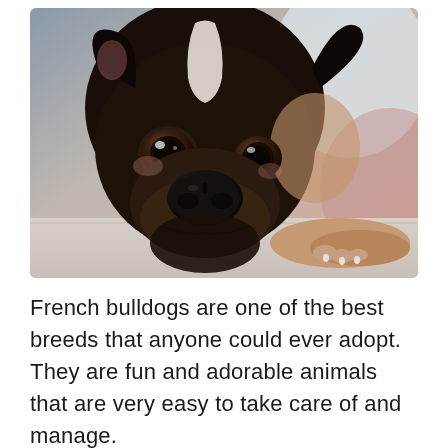[Figure (photo): Close-up photo of a French Bulldog lying down with chin resting on a surface, looking up with large brown eyes. The dog has a dark brown and white coat with a white stripe on its forehead.]
French bulldogs are one of the best breeds that anyone could ever adopt. They are fun and adorable animals that are very easy to take care of and manage.